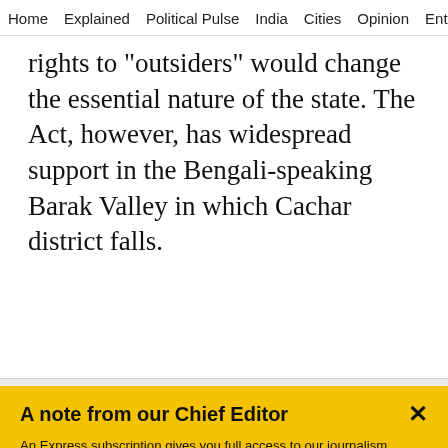Home  Explained  Political Pulse  India  Cities  Opinion  Entertainment
rights to "outsiders" would change the essential nature of the state. The Act, however, has widespread support in the Bengali-speaking Barak Valley in which Cachar district falls.
A note from our Chief Editor
An Express subscription gives you full access to our journalism across all your devices, mobile, tablet, desktop. A journalism of courage that explains and investigates with fairness and accuracy. Brought to you by our award-winning team of over 300 reporters and editors across the country. Including a team of top domain experts who explain news as it breaks, columnists who make us think and rethink, and a crack investigative team, the only partner in India of the International Consortium of Investigative Journalists. Journalism
Buy Now →